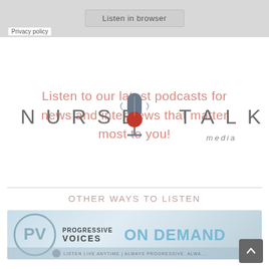[Figure (screenshot): Listen in browser button on a gray background]
Privacy policy
[Figure (logo): Nurse Talk Media logo with microphone graphic]
Listen to our latest podcasts for news and interviews that matter most to you!
OTHER WAYS TO LISTEN
[Figure (screenshot): Progressive Voices On Demand banner - Listen Live Anytime, Always Progressive, Always...]